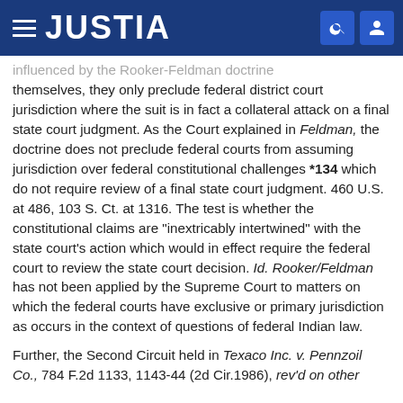JUSTIA
influenced by the Rooker-Feldman doctrine themselves, they only preclude federal district court jurisdiction where the suit is in fact a collateral attack on a final state court judgment. As the Court explained in Feldman, the doctrine does not preclude federal courts from assuming jurisdiction over federal constitutional challenges *134 which do not require review of a final state court judgment. 460 U.S. at 486, 103 S. Ct. at 1316. The test is whether the constitutional claims are "inextricably intertwined" with the state court's action which would in effect require the federal court to review the state court decision. Id. Rooker/Feldman has not been applied by the Supreme Court to matters on which the federal courts have exclusive or primary jurisdiction as occurs in the context of questions of federal Indian law.
Further, the Second Circuit held in Texaco Inc. v. Pennzoil Co., 784 F.2d 1133, 1143-44 (2d Cir.1986), rev'd on other